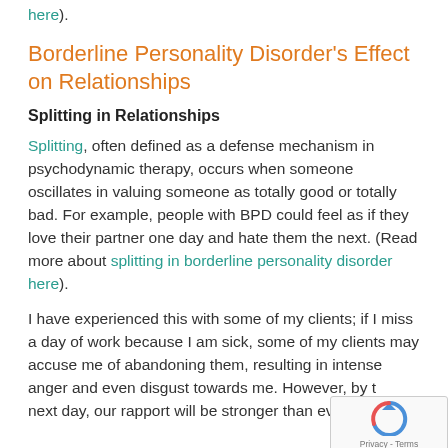here).
Borderline Personality Disorder's Effect on Relationships
Splitting in Relationships
Splitting, often defined as a defense mechanism in psychodynamic therapy, occurs when someone oscillates in valuing someone as totally good or totally bad. For example, people with BPD could feel as if they love their partner one day and hate them the next. (Read more about splitting in borderline personality disorder here).
I have experienced this with some of my clients; if I miss a day of work because I am sick, some of my clients may accuse me of abandoning them, resulting in intense anger and even disgust towards me. However, by the next day, our rapport will be stronger than ever be